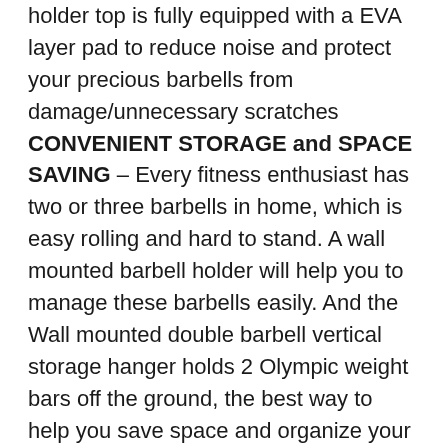holder top is fully equipped with a EVA layer pad to reduce noise and protect your precious barbells from damage/unnecessary scratches CONVENIENT STORAGE and SPACE SAVING – Every fitness enthusiast has two or three barbells in home, which is easy rolling and hard to stand. A wall mounted barbell holder will help you to manage these barbells easily. And the Wall mounted double barbell vertical storage hanger holds 2 Olympic weight bars off the ground, the best way to help you save space and organize your bar. DESIGNED WITH USE IN MIND: Optimal depth for MULTI-PURPOSE Use & Quick Hanging! Optimal distance between sections to reduce/eliminate tangling, angles lip on front preventing items from falling down. Perfect for any place.